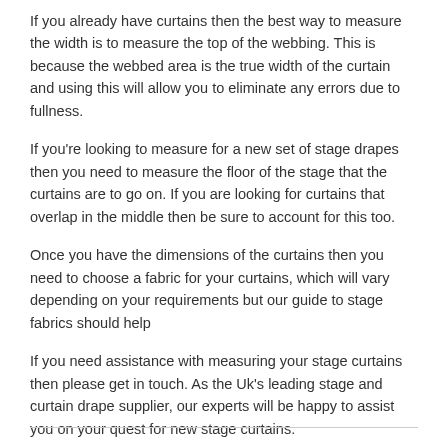If you already have curtains then the best way to measure the width is to measure the top of the webbing. This is because the webbed area is the true width of the curtain and using this will allow you to eliminate any errors due to fullness.
If you're looking to measure for a new set of stage drapes then you need to measure the floor of the stage that the curtains are to go on. If you are looking for curtains that overlap in the middle then be sure to account for this too.
Once you have the dimensions of the curtains then you need to choose a fabric for your curtains, which will vary depending on your requirements but our guide to stage fabrics should help
If you need assistance with measuring your stage curtains then please get in touch. As the Uk's leading stage and curtain drape supplier, our experts will be happy to assist you on your quest for new stage curtains.